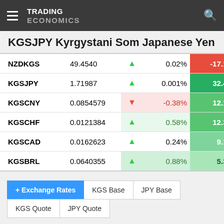TRADING ECONOMICS
KGSJPY Kyrgystani Som Japanese Yen
|  | Value | ▲▼ | Day% | Annual% |
| --- | --- | --- | --- | --- |
| NZDKGS | 49.4540 | ▲ | 0.02% | -17.15% |
| KGSJPY | 1.71987 | ▲ | 0.001% | 32.43% |
| KGSCNY | 0.0854579 | ▼ | -0.38% | 12.15% |
| KGSCHF | 0.0121384 | ▲ | 0.58% | 12.32% |
| KGSCAD | 0.0162623 | ▲ | 0.24% | 9.16% |
| KGSBRL | 0.0640355 | ▲ | 0.88% | 5.33% |
+ Exchange Rates
KGS Base
JPY Base
KGS Quote
JPY Quote